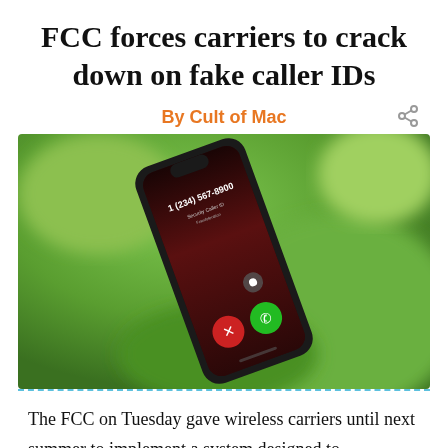FCC forces carriers to crack down on fake caller IDs
By Cult of Mac
[Figure (photo): An iPhone with an incoming call screen showing caller ID '1 (234) 567-8900' with a red decline button and green accept button, held against a blurred green background.]
The FCC on Tuesday gave wireless carriers until next summer to implement a system designed to